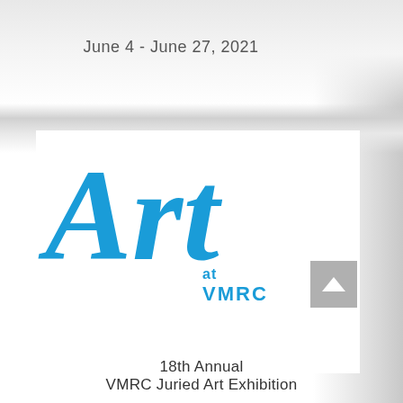June 4 - June 27, 2021
[Figure (logo): Art at VMRC logo — the word 'Art' in large blue brush-script lettering, with 'at VMRC' in bold blue sans-serif text below and to the right, accompanied by a grey scroll-to-top arrow button]
18th Annual
VMRC Juried Art Exhibition